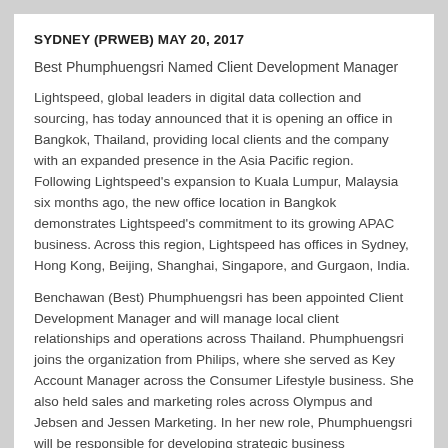SYDNEY (PRWEB) MAY 20, 2017
Best Phumphuengsri Named Client Development Manager
Lightspeed, global leaders in digital data collection and sourcing, has today announced that it is opening an office in Bangkok, Thailand, providing local clients and the company with an expanded presence in the Asia Pacific region. Following Lightspeed's expansion to Kuala Lumpur, Malaysia six months ago, the new office location in Bangkok demonstrates Lightspeed's commitment to its growing APAC business. Across this region, Lightspeed has offices in Sydney, Hong Kong, Beijing, Shanghai, Singapore, and Gurgaon, India.
Benchawan (Best) Phumphuengsri has been appointed Client Development Manager and will manage local client relationships and operations across Thailand. Phumphuengsri joins the organization from Philips, where she served as Key Account Manager across the Consumer Lifestyle business. She also held sales and marketing roles across Olympus and Jebsen and Jessen Marketing. In her new role, Phumphuengsri will be responsible for developing strategic business opportunities and growing business channel accounts.
“Across our region, Lightspeed continues to be an influential